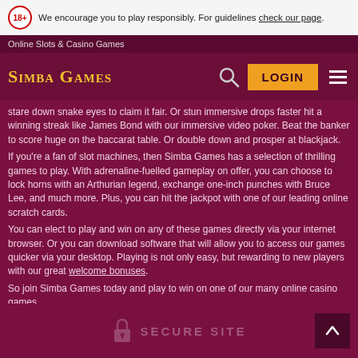We encourage you to play responsibly. For guidelines check our page.
Online Slots & Casino Games
Simba Games — LOGIN
...stare down snake eyes to claim it fair. Or stun immersive drops faster hit a winning streak like James Bond with our immersive video poker. Beat the banker to score huge on the baccarat table. Or double down and prosper at blackjack.
If you're a fan of slot machines, then Simba Games has a selection of thrilling games to play. With adrenaline-fuelled gameplay on offer, you can choose to lock horns with an Arthurian legend, exchange one-inch punches with Bruce Lee, and much more. Plus, you can hit the jackpot with one of our leading online scratch cards.
You can elect to play and win on any of these games directly via your internet browser. Or you can download software that will allow you to access our games quicker via your desktop. Playing is not only easy, but rewarding to new players with our great welcome bonuses.
So join Simba Games today and play to win on one of our many online casino games.
[Figure (logo): Secure Site lock icon with text SECURE SITE]